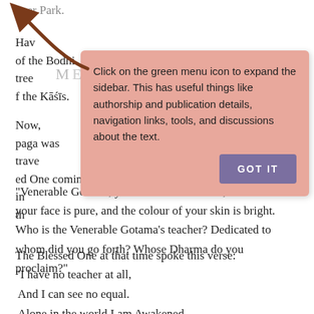...er Park.
Having left [the place] of the Bodhi tree [he went to] the Kāśīs.
ME... ANDERER
Now, ...paga was travelling... the Blessed One coming in th...
[Figure (infographic): Tooltip popup with salmon/pink background. Text reads: 'Click on the green menu icon to expand the sidebar. This has useful things like authorship and publication details, navigation links, tools, and discussions about the text.' A purple 'GOT IT' button in the lower right. A brown arrow points to the upper left from outside the tooltip.]
“Venerable Gotama, your faculties are clear, the colour of your face is pure, and the colour of your skin is bright. Who is the Venerable Gotama’s teacher? Dedicated to whom did you go forth? Whose Dharma do you proclaim?”
The Blessed One at that time spoke this verse:
“I have no teacher at all,
 And I can see no equal.
 Alone in the world I am Awakened
 I attained the highest Awakening.